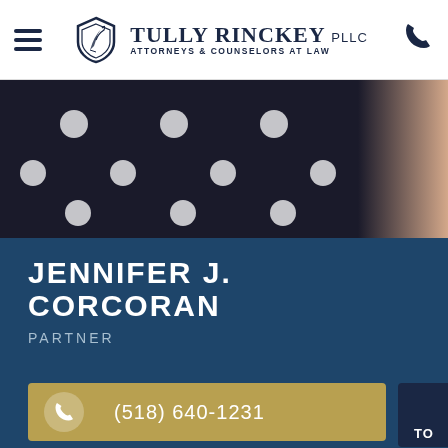Tully Rinckey PLLC - Attorneys & Counselors at Law
[Figure (photo): Partial photo of attorney Jennifer J. Corcoran wearing a black and white polka dot dress, cropped to show torso area]
JENNIFER J. CORCORAN
PARTNER
(518) 640-1231
Email